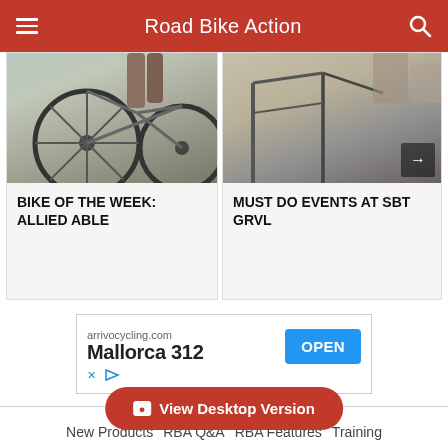Road Bike Action
BIKE OF THE WEEK: ALLIED ABLE
MUST DO EVENTS AT SBT GRVL
[Figure (screenshot): Advertisement banner for arrivocycling.com featuring Mallorca 312 with an OPEN button]
New Products   RBA Q&A   RBA Features   Training   Bike Tests   Product Tests   Latest News   Subscribe
View Desktop Version